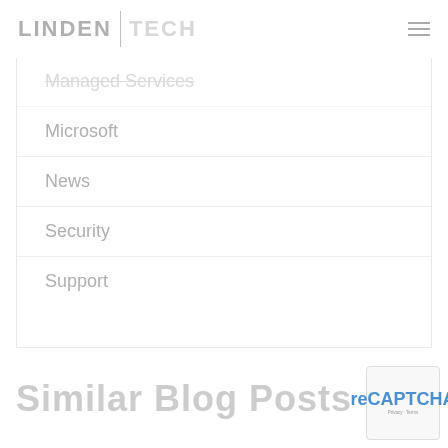LINDEN | TECH
Managed Services
Microsoft
News
Security
Support
Similar Blog Posts